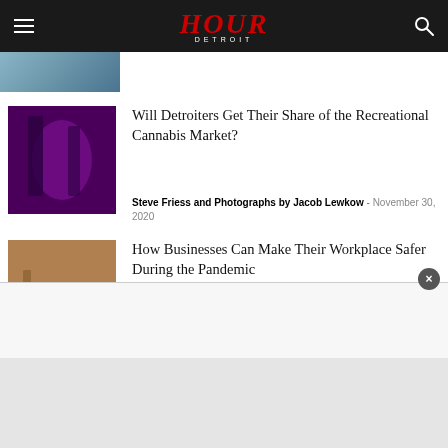HOUR DETROIT
[Figure (photo): Partial thumbnail image at top left, partially cut off]
Will Detroiters Get Their Share of the Recreational Cannabis Market?
Steve Friess and Photographs by Jacob Lewkow - November 30, 2020
How Businesses Can Make Their Workplace Safer During the Pandemic
Ashley Zlatopolsky - October 28, 2020
How Interior Designers Are Helping Businesses During the Pandemic
Ashley Zlatopolsky - October 5, 2020